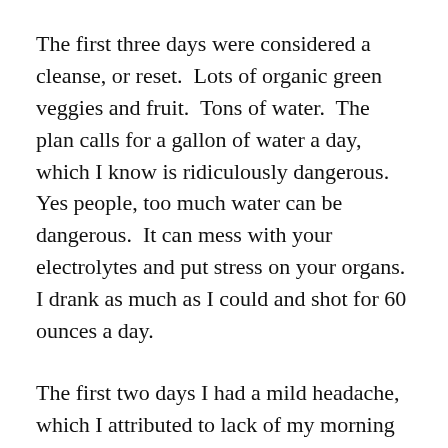The first three days were considered a cleanse, or reset.  Lots of organic green veggies and fruit.  Tons of water.  The plan calls for a gallon of water a day, which I know is ridiculously dangerous.  Yes people, too much water can be dangerous.  It can mess with your electrolytes and put stress on your organs.  I drank as much as I could and shot for 60 ounces a day.
The first two days I had a mild headache, which I attributed to lack of my morning cup of coffee.  Day two I got to try quinoa.  That was a big mushy, messy fail.  I threw it out and tried again with less water. I ate quinoa and mangoes the next day and it went slightly better.